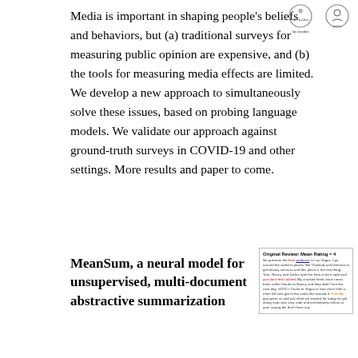Media is important in shaping people's beliefs and behaviors, but (a) traditional surveys for measuring public opinion are expensive, and (b) the tools for measuring media effects are limited. We develop a new approach to simultaneously solve these issues, based on probing language models. We validate our approach against ground-truth surveys in COVID-19 and other settings. More results and paper to come.
[Figure (logo): Two small institutional logos/icons in the top right corner]
MeanSum, a neural model for unsupervised, multi-document abstractive summarization
[Figure (screenshot): A preview box showing an original review with mean rating = 4, containing text about a nail salon in Las Vegas with colored text highlights]